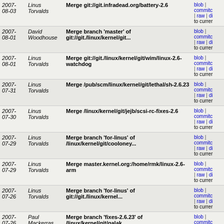| Date | Author | Commit message | Links |
| --- | --- | --- | --- |
| 2007-08-03 | Linus Torvalds | Merge git://git.infradead.org/battery-2.6 | blob | commitc | raw | di to currer |
| 2007-08-01 | David Woodhouse | Merge branch 'master' of git://git./linux/kernel/git... | blob | commitc | raw | di to currer |
| 2007-08-01 | Linus Torvalds | Merge git://git./linux/kernel/git/wim/linux-2.6-watchdog | blob | commitc | raw | di to currer |
| 2007-07-31 | Linus Torvalds | Merge /pub/scm/linux/kernel/git/lethal/sh-2.6.23 | blob | commitc | raw | di to currer |
| 2007-07-30 | Linus Torvalds | Merge /linux/kernel/git/jejb/scsi-rc-fixes-2.6 | blob | commitc | raw | di to currer |
| 2007-07-29 | Linus Torvalds | Merge branch 'for-linus' of /linux/kernel/git/cooloney... | blob | commitc | raw | di to currer |
| 2007-07-29 | Linus Torvalds | Merge master.kernel.org:/home/rmk/linux-2.6-arm | blob | commitc | raw | di to currer |
| 2007-07-26 | Linus Torvalds | Merge branch 'for-linus' of git://git./linux/kernel... | blob | commitc | raw | di to currer |
| 2007-07-26 | Paul Mackerras | Merge branch 'fixes-2.6.23' of /linux/kernel/git/galak... | blob | commitc | raw | di to currer |
| 2007-07-25 | Linus Torvalds | Merge branch 'release' of git://git./linux/kernel/git... | blob | commitc | raw | di to currer |
| 2007- | Linus | Merge branch 'for-linus' of | blob | |